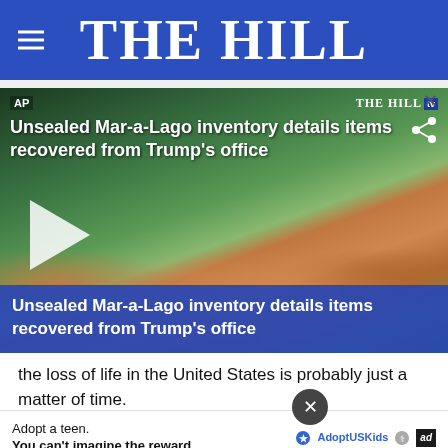THE HILL
[Figure (screenshot): Video thumbnail showing aerial view of Mar-a-Lago estate with title overlay: 'Unsealed Mar-a-Lago inventory details items recovered from Trump's office'. THE HILL tv logo visible top right. AP label top left. Blue bar at bottom repeats the title. Play button visible on left side.]
the loss of life in the United States is probably just a matter of time.
The A Intern
Adopt a teen. You can't imagine the reward.